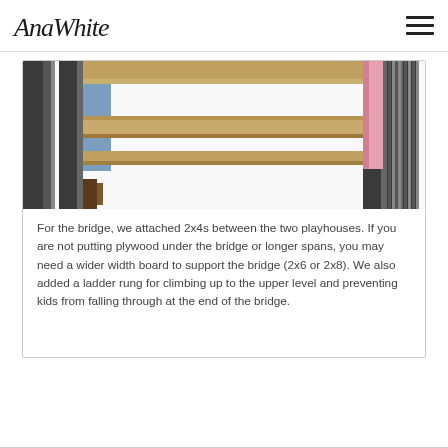AnaWhite
[Figure (illustration): 3D engineering diagram of a bridge structure connecting two playhouses, showing 2x4 boards with a tan/beige horizontal beam, dark wooden vertical posts, and pink panel on the right side.]
For the bridge, we attached 2x4s between the two playhouses. If you are not putting plywood under the bridge or longer spans, you may need a wider width board to support the bridge (2x6 or 2x8). We also added a ladder rung for climbing up to the upper level and preventing kids from falling through at the end of the bridge.